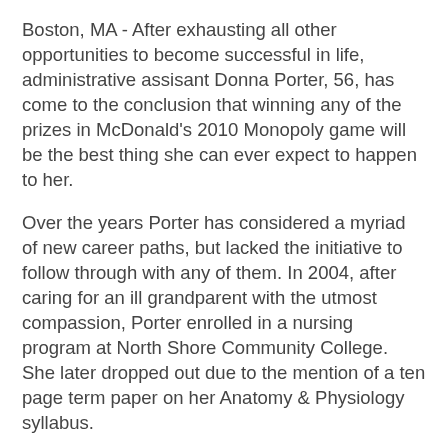Boston, MA - After exhausting all other opportunities to become successful in life, administrative assisant Donna Porter, 56, has come to the conclusion that winning any of the prizes in McDonald's 2010 Monopoly game will be the best thing she can ever expect to happen to her.
Over the years Porter has considered a myriad of new career paths, but lacked the initiative to follow through with any of them. In 2004, after caring for an ill grandparent with the utmost compassion, Porter enrolled in a nursing program at North Shore Community College. She later dropped out due to the mention of a ten page term paper on her Anatomy & Physiology syllabus.
"On weekends I go onto Craigs List," said Porter, "and try to meet up with other people who might have found the rarer pieces." With no other current goals, Porter is able to spend up to 6 hours per day tracking down the elusive pieces.
In 1994 Porter finished writing a novel about a teenage vampire who falls madly in love with a mortal girl. After